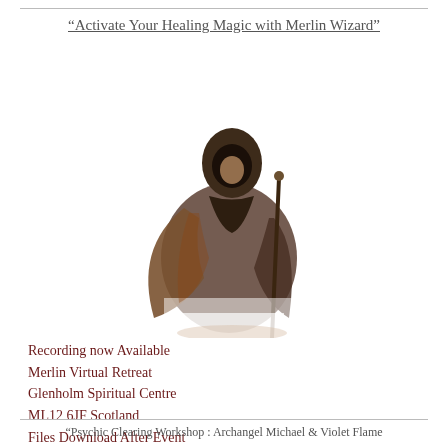“Activate Your Healing Magic with Merlin Wizard”
[Figure (illustration): A robed wizard figure in a dark hooded cloak, holding a staff, with flowing cape, rendered in fantasy illustration style]
Recording now Available
Merlin Virtual Retreat
Glenholm Spiritual Centre
ML12 6JF Scotland
Files Download After Event
£125 Rest of World, UK £150inc Vat
Buy Workshop Download
“Psychic Clearing Workshop : Archangel Michael & Violet Flame